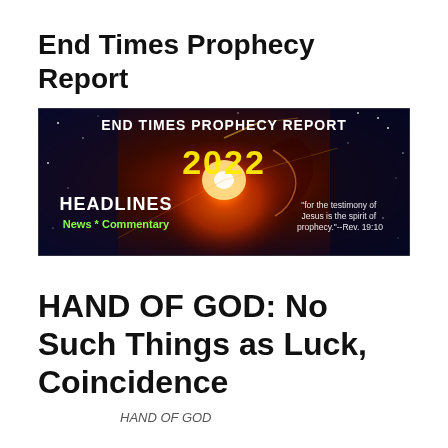End Times Prophecy Report
[Figure (illustration): Banner image for End Times Prophecy Report 2022 with headlines section, News Commentary text, a glowing cosmic background, and quote: 'for the testimony of Jesus is the spirit of prophecy.'--Rev. 19:10]
HAND OF GOD: No Such Things as Luck, Coincidence
HAND OF GOD